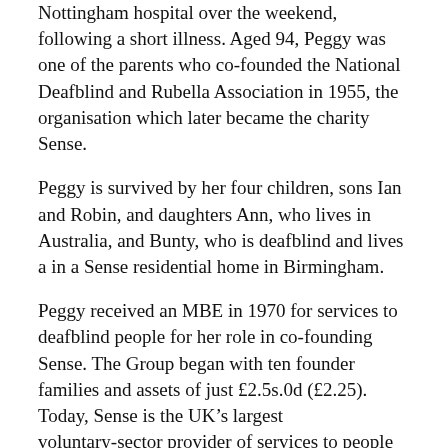Nottingham hospital over the weekend, following a short illness. Aged 94, Peggy was one of the parents who co-founded the National Deafblind and Rubella Association in 1955, the organisation which later became the charity Sense.
Peggy is survived by her four children, sons Ian and Robin, and daughters Ann, who lives in Australia, and Bunty, who is deafblind and lives a in a Sense residential home in Birmingham.
Peggy received an MBE in 1970 for services to deafblind people for her role in co-founding Sense. The Group began with ten founder families and assets of just £2.5s.0d (£2.25). Today, Sense is the UK's largest voluntary-sector provider of services to people with both sight and hearing difficulties. It employs over 3,000 staff and meets the needs of thousands of dual-sensory impaired people from babyhood to old age.
Gillian Morbey CEO, Sense and Sense International and President of Deafblind International said,  'Although